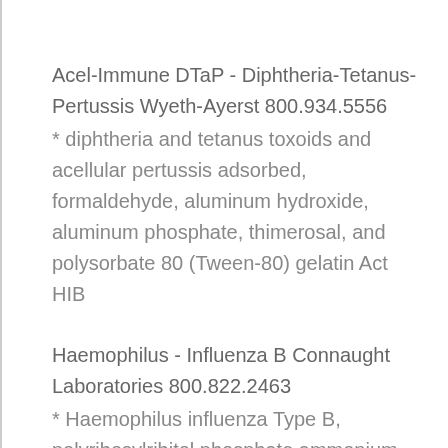Acel-Immune DTaP - Diphtheria-Tetanus-Pertussis Wyeth-Ayerst 800.934.5556
* diphtheria and tetanus toxoids and acellular pertussis adsorbed, formaldehyde, aluminum hydroxide, aluminum phosphate, thimerosal, and polysorbate 80 (Tween-80) gelatin Act HIB
Haemophilus - Influenza B Connaught Laboratories 800.822.2463
* Haemophilus influenza Type B, polyribosylribitol phosphate ammonium